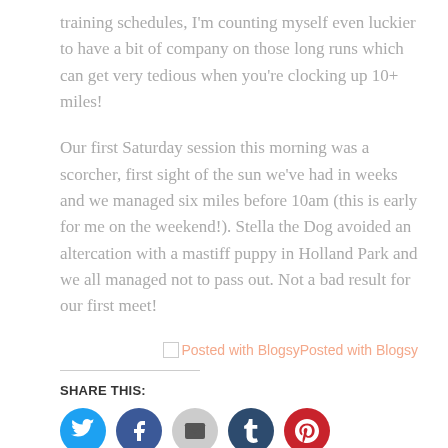training schedules, I'm counting myself even luckier to have a bit of company on those long runs which can get very tedious when you're clocking up 10+ miles!
Our first Saturday session this morning was a scorcher, first sight of the sun we've had in weeks and we managed six miles before 10am (this is early for me on the weekend!). Stella the Dog avoided an altercation with a mastiff puppy in Holland Park and we all managed not to pass out. Not a bad result for our first meet!
[Figure (other): Broken image icon followed by text 'Posted with BlogsyPosted with Blogsy' in salmon/coral color]
SHARE THIS: